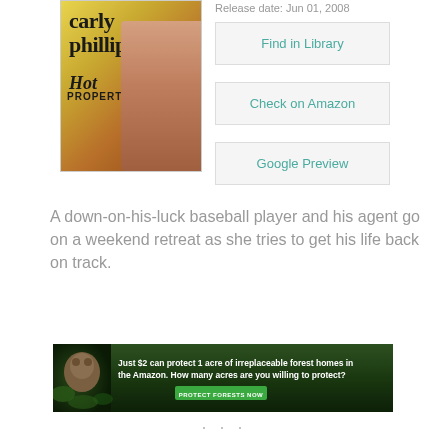[Figure (illustration): Book cover for 'Hot Property' by Carly Phillips showing the author name, title, and a figure in the background]
Release date: Jun 01, 2008
Find in Library
Check on Amazon
Google Preview
A down-on-his-luck baseball player and his agent go on a weekend retreat as she tries to get his life back on track.
[Figure (infographic): Green advertisement banner reading: Just $2 can protect 1 acre of irreplaceable forest homes in the Amazon. How many acres are you willing to protect? PROTECT FORESTS NOW]
...